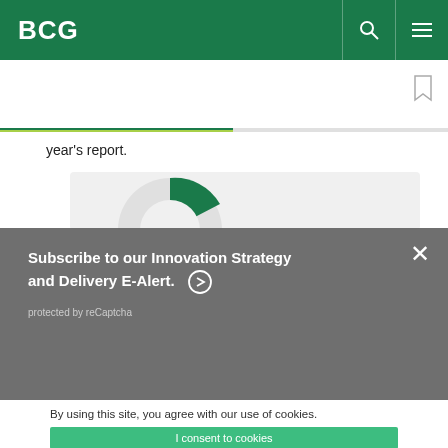BCG
year's report.
[Figure (other): Partial pie/donut chart visible behind subscribe overlay]
Subscribe to our Innovation Strategy and Delivery E-Alert. ⊕
protected by reCaptcha
By using this site, you agree with our use of cookies.
I consent to cookies
Want to know more?
Read our Cookie Policy